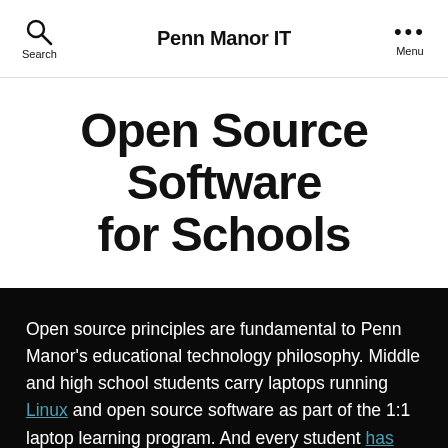Penn Manor IT
Open Source Software for Schools
Open source principles are fundamental to Penn Manor's educational technology philosophy. Middle and high school students carry laptops running Linux and open source software as part of the 1:1 laptop learning program. And every student has root access to their school-issued computer.